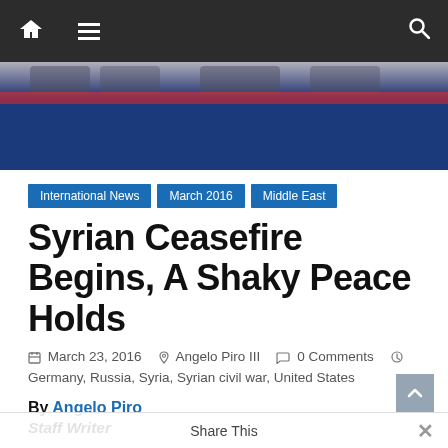Navigation bar with home, menu, and search icons
[Figure (photo): Partial photo of people seated at a table with a blue tablecloth, partially visible at top of page]
International News   March 2016   Middle East
Syrian Ceasefire Begins, A Shaky Peace Holds
March 23, 2016   Angelo Piro III   0 Comments
Germany, Russia, Syria, Syrian civil war, United States
By Angelo Piro
Staff Writer
On February 27, the people of Syria began to see the first hint at peace since the bloody civil war in their country began. The deal, backed by the United States and Russia, is meant to help all